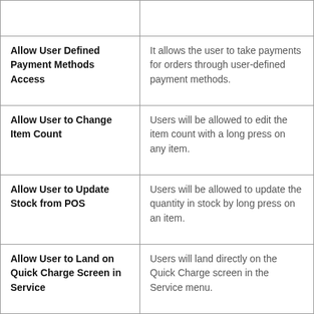| Feature | Description |
| --- | --- |
|  |  |
| Allow User Defined Payment Methods Access | It allows the user to take payments for orders through user-defined payment methods. |
| Allow User to Change Item Count | Users will be allowed to edit the item count with a long press on any item. |
| Allow User to Update Stock from POS | Users will be allowed to update the quantity in stock by long press on an item. |
| Allow User to Land on Quick Charge Screen in Service | Users will land directly on the Quick Charge screen in the Service menu. |